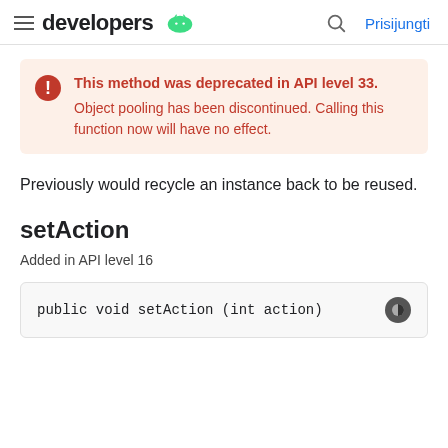developers | Prisijungti
This method was deprecated in API level 33. Object pooling has been discontinued. Calling this function now will have no effect.
Previously would recycle an instance back to be reused.
setAction
Added in API level 16
public void setAction (int action)